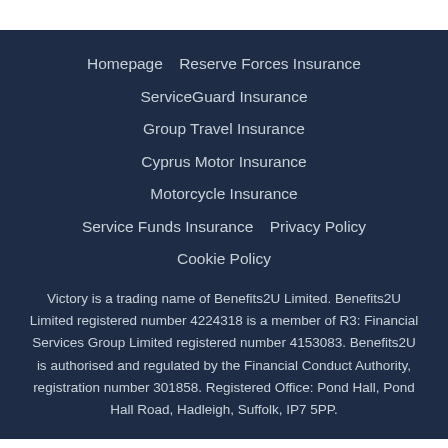Homepage   Reserve Forces Insurance
ServiceGuard Insurance
Group Travel Insurance
Cyprus Motor Insurance
Motorcycle Insurance
Service Funds Insurance   Privacy Policy
Cookie Policy
Victory is a trading name of Benefits2U Limited. Benefits2U Limited registered number 4224318 is a member of R3: Financial Services Group Limited registered number 4153083. Benefits2U is authorised and regulated by the Financial Conduct Authority, registration number 301858. Registered Office: Pond Hall, Pond Hall Road, Hadleigh, Suffolk, IP7 5PP.